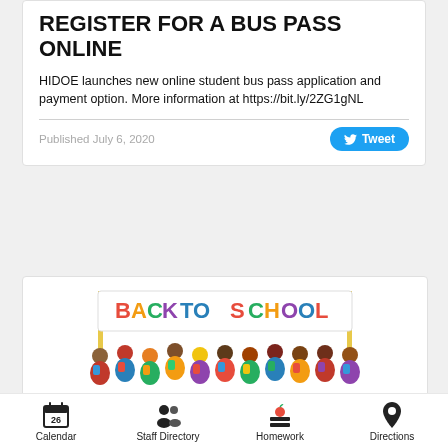REGISTER FOR A BUS PASS ONLINE
HIDOE launches new online student bus pass application and payment option. More information at https://bit.ly/2ZG1gNL
Published July 6, 2020
[Figure (illustration): Back to school illustration showing children with backpacks holding a colorful 'BACK TO SCHOOL' banner]
Calendar  Staff Directory  Homework  Directions